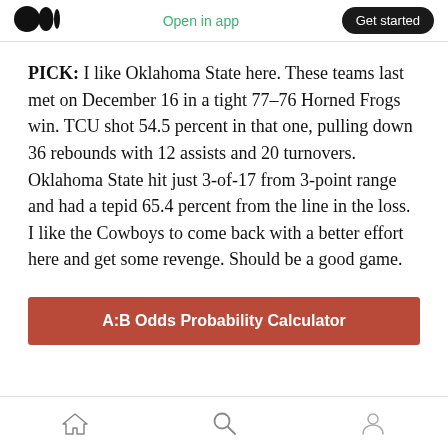Open in app | Get started
PICK: I like Oklahoma State here. These teams last met on December 16 in a tight 77–76 Horned Frogs win. TCU shot 54.5 percent in that one, pulling down 36 rebounds with 12 assists and 20 turnovers. Oklahoma State hit just 3-of-17 from 3-point range and had a tepid 65.4 percent from the line in the loss. I like the Cowboys to come back with a better effort here and get some revenge. Should be a good game.
[Figure (other): A:B Odds Probability Calculator button (red/maroon background, white bold text)]
Home | Search | Profile